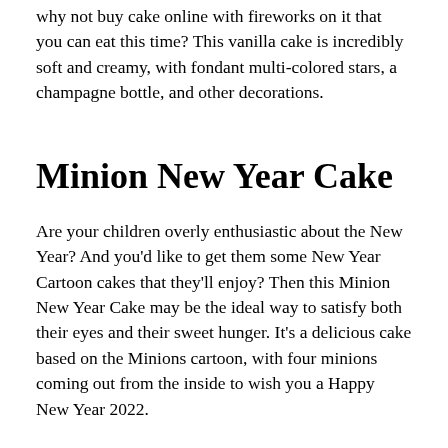why not buy cake online with fireworks on it that you can eat this time? This vanilla cake is incredibly soft and creamy, with fondant multi-colored stars, a champagne bottle, and other decorations.
Minion New Year Cake
Are your children overly enthusiastic about the New Year? And you'd like to get them some New Year Cartoon cakes that they'll enjoy? Then this Minion New Year Cake may be the ideal way to satisfy both their eyes and their sweet hunger. It's a delicious cake based on the Minions cartoon, with four minions coming out from the inside to wish you a Happy New Year 2022.
Jack Daniels Delicacy
Cakes enhance the enjoyment of parties, and flavored